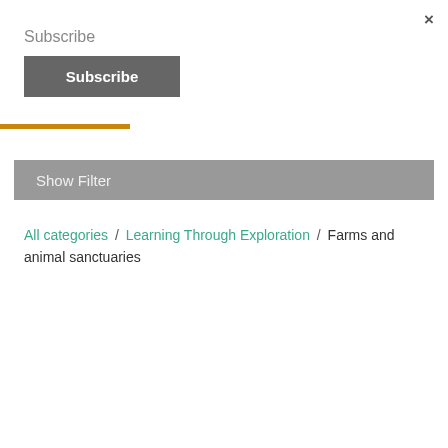×
Subscribe
Subscribe
Show Filter
All categories / Learning Through Exploration / Farms and animal sanctuaries